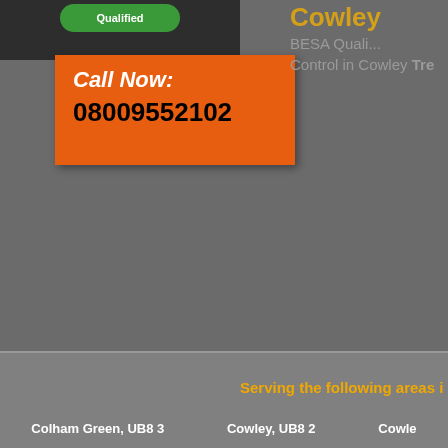[Figure (infographic): Green 'Qualified' badge/seal on dark background]
Call Now: 08009552102
Cowley BESA Qualified... Control in Cowley Tre...
Serving the following areas i
Colham Green, UB8 3
Cowley, UB8 2
Cowle...